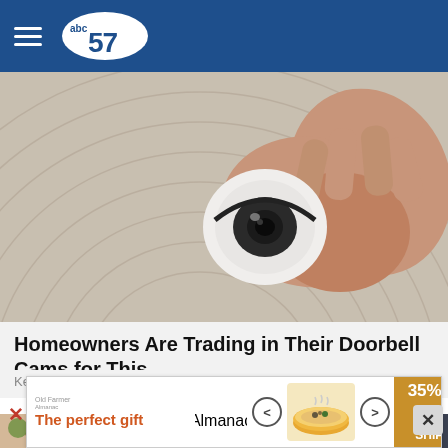abc57
[Figure (photo): A hand holding a round white smart home security camera device against a woven rattan background]
Homeowners Are Trading in Their Doorbell Cams for This.
Keilini.com
[Figure (photo): Close-up of a person's ankle wearing a beaded brown bracelet and pink strap sandal, next to another person in denim shorts]
[Figure (infographic): Advertisement banner: The perfect gift, 35% OFF + FREE SHIPPING]